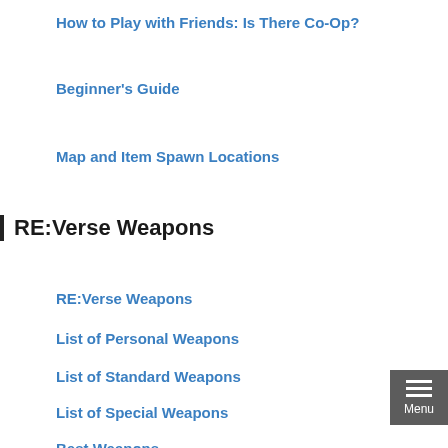How to Play with Friends: Is There Co-Op?
Beginner's Guide
Map and Item Spawn Locations
RE:Verse Weapons
RE:Verse Weapons
List of Personal Weapons
List of Standard Weapons
List of Special Weapons
Best Weapons
RE:Verse Bioweapons